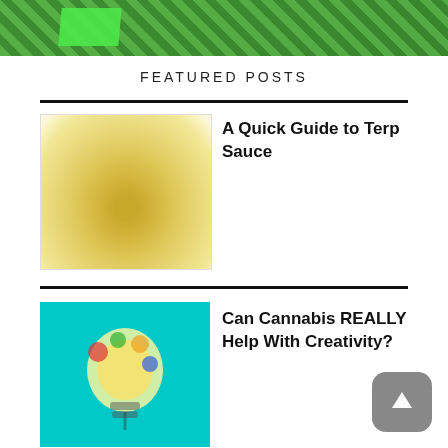[Figure (photo): Green grass and green fabric/flags on grass background, top banner image]
FEATURED POSTS
[Figure (photo): Close-up photo of terp sauce cannabis concentrate, yellowish sticky substance in a container]
A Quick Guide to Terp Sauce
[Figure (photo): Colorful light bulb on teal/cyan background, representing creativity and cannabis]
Can Cannabis REALLY Help With Creativity?